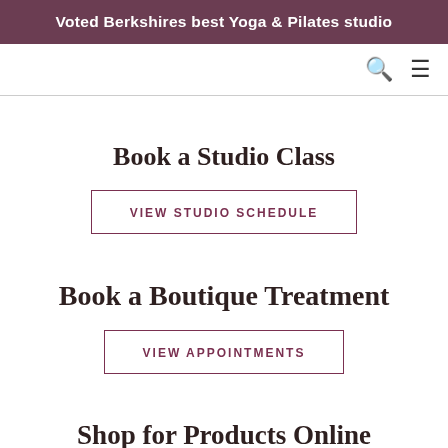Voted Berkshires best Yoga & Pilates studio
Book a Studio Class
VIEW STUDIO SCHEDULE
Book a Boutique Treatment
VIEW APPOINTMENTS
Shop for Products Online
BUY A PRODUCT